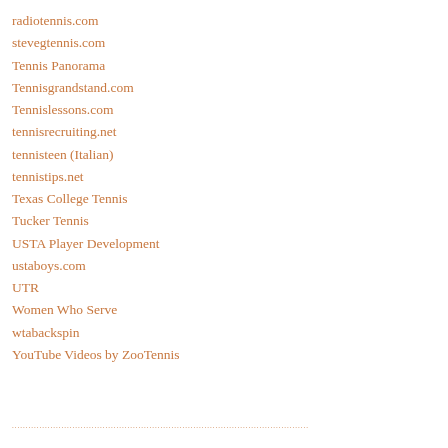radiotennis.com
stevegtennis.com
Tennis Panorama
Tennisgrandstand.com
Tennislessons.com
tennisrecruiting.net
tennisteen (Italian)
tennistips.net
Texas College Tennis
Tucker Tennis
USTA Player Development
ustaboys.com
UTR
Women Who Serve
wtabackspin
YouTube Videos by ZooTennis
....................................................................................................